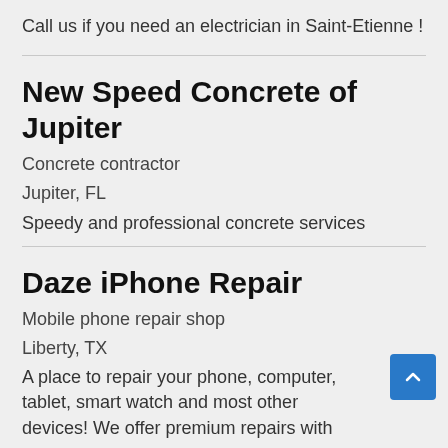Call us if you need an electrician in Saint-Etienne !
New Speed Concrete of Jupiter
Concrete contractor
Jupiter, FL
Speedy and professional concrete services
Daze iPhone Repair
Mobile phone repair shop
Liberty, TX
A place to repair your phone, computer, tablet, smart watch and most other devices! We offer premium repairs with